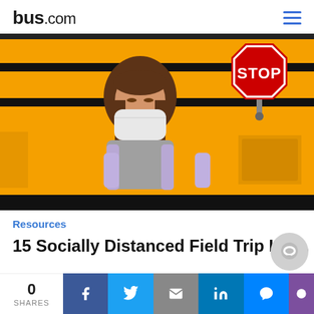bus.com
[Figure (photo): Young girl wearing a white face mask and purple backpack standing in front of a yellow school bus with a STOP sign visible in the background.]
Resources
15 Socially Distanced Field Trip Ide…
0 SHARES | Facebook | Twitter | Email | LinkedIn | Messenger | More